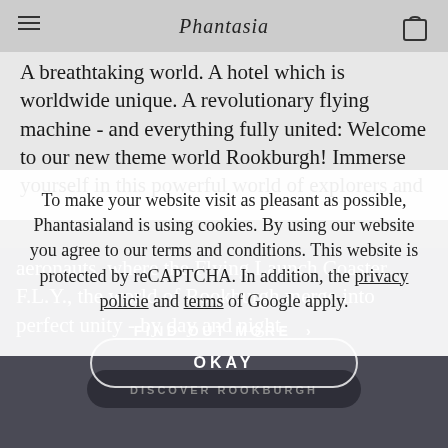Phantasia (logo/nav bar)
A breathtaking world. A hotel which is worldwide unique. A revolutionary flying machine - and everything fully united: Welcome to our new theme world Rookburgh! Immerse yourself in this powerful world of explorers and aeronauts, where the Flying Launch Coaster F.L.Y., the world of Rookburgh merge into perfect unity - by day and night.
To make your website visit as pleasant as possible, Phantasialand is using cookies. By using our website you agree to our terms and conditions. This website is protected by reCAPTCHA. In addition, the privacy policie and terms of Google apply.
FIND OUT MORE >
DISCOVER ROOKBURGH
OKAY